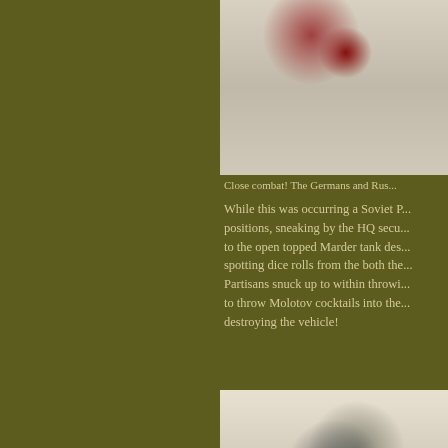[Figure (photo): Top photo showing miniature wargame figures on a white/grey surface, partially cropped on the right side of the page]
Close combat! The Germans and Rus...
While this was occurring a Soviet P... positions, sneaking by the HQ secu... to the open topped Marder tank des... spotting dice rolls from the both the... Partisans snuck up to within throwi... to throw Molotov cocktails into the... destroying the vehicle!
[Figure (photo): Bottom photo showing a destroyed/burning miniature wargame vehicle (Marder tank destroyer) with miniature soldiers on a white surface]